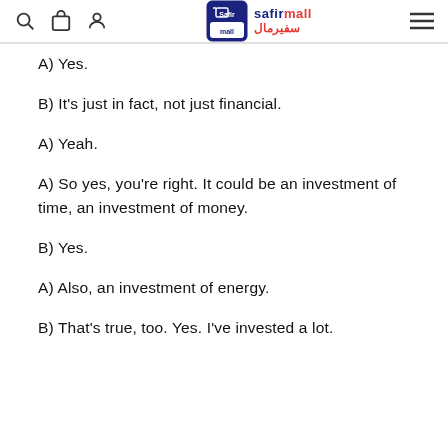safirmall / سفيرمال
A) Yes.
B) It's just in fact, not just financial.
A) Yeah.
A) So yes, you're right. It could be an investment of time, an investment of money.
B) Yes.
A) Also, an investment of energy.
B) That's true, too. Yes. I've invested a lot.